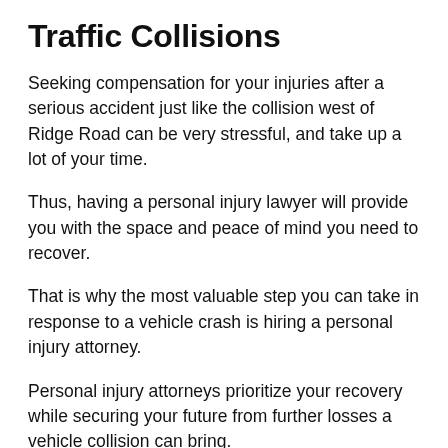Traffic Collisions
Seeking compensation for your injuries after a serious accident just like the collision west of Ridge Road can be very stressful, and take up a lot of your time.
Thus, having a personal injury lawyer will provide you with the space and peace of mind you need to recover.
That is why the most valuable step you can take in response to a vehicle crash is hiring a personal injury attorney.
Personal injury attorneys prioritize your recovery while securing your future from further losses a vehicle collision can bring.
You don't need to experience more hardship